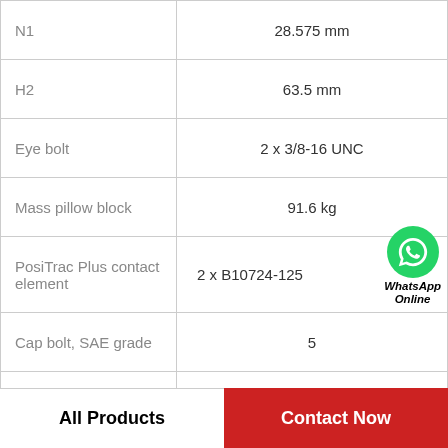| Parameter | Value |
| --- | --- |
| N1 | 28.575 mm |
| H2 | 63.5 mm |
| Eye bolt | 2 x 3/8-16 UNC |
| Mass pillow block | 91.6 kg |
| PosiTrac Plus contact element | 2 x B10724-125 |
| Cap bolt, SAE grade | 5 |
| h | 50.8 mm |
| Housing | SAF 530 |
All Products
Contact Now